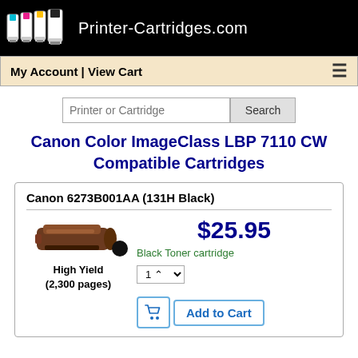Printer-Cartridges.com
My Account | View Cart
Printer or Cartridge  Search
Canon Color ImageClass LBP 7110 CW Compatible Cartridges
Canon 6273B001AA (131H Black)
$25.95
Black Toner cartridge
High Yield
(2,300 pages)
Add to Cart